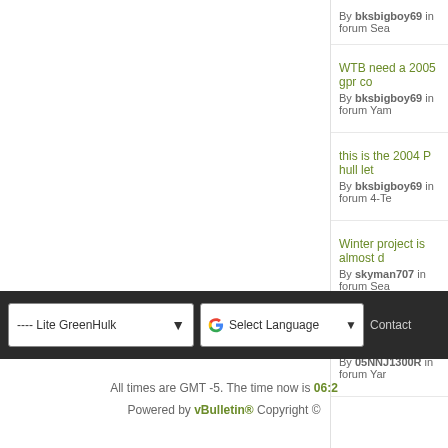By bksbigboy69 in forum Sea
WTB need a 2005 gpr co... By bksbigboy69 in forum Yam
this is the 2004 P hull let... By bksbigboy69 in forum 4-Te
Winter project is almost d... By skyman707 in forum Sea
let me know what you gu... By 05NNJ1300R in forum Yar
---- Lite GreenHulk   Select Language   Contact
All times are GMT -5. The time now is 06:2
Powered by vBulletin® Copyright ©